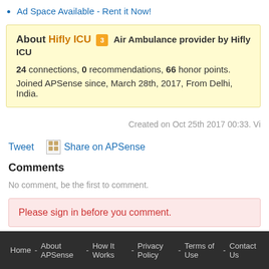Ad Space Available - Rent it Now!
About Hifly ICU [star:3] Air Ambulance provider by Hifly ICU
24 connections, 0 recommendations, 66 honor points.
Joined APSense since, March 28th, 2017, From Delhi, India.
Created on Oct 25th 2017 00:33. Vi
Tweet   Share on APSense
Comments
No comment, be the first to comment.
Please sign in before you comment.
Home - About APSense - How It Works - Privacy Policy - Terms of Use - Contact Us